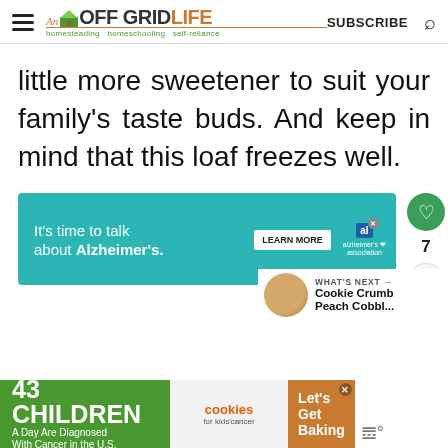An Off Grid Life — homesteading homeschooling self-reliance | SUBSCRIBE
little more sweetener to suit your family's taste buds. And keep in mind that this loaf freezes well.
[Figure (screenshot): Alzheimer's association advertisement banner: 'It's time to talk about Alzheimer's.' with LEARN MORE button]
[Figure (screenshot): Social share sidebar with heart icon (7 likes) and share button]
[Figure (screenshot): What's Next panel: Cookie Crumb Peach Cobbl... with cookie image thumbnail]
[Figure (screenshot): Bottom advertisement: 43 Children A Day Are Diagnosed With Cancer in the U.S. — cookies for kids' cancer — Let's Get Baking]